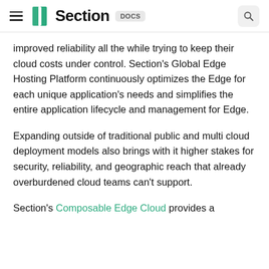Section DOCS
improved reliability all the while trying to keep their cloud costs under control. Section's Global Edge Hosting Platform continuously optimizes the Edge for each unique application's needs and simplifies the entire application lifecycle and management for Edge.
Expanding outside of traditional public and multi cloud deployment models also brings with it higher stakes for security, reliability, and geographic reach that already overburdened cloud teams can't support.
Section's Composable Edge Cloud provides a